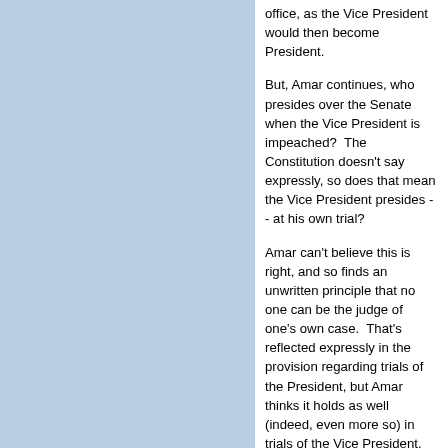office, as the Vice President would then become President.
But, Amar continues, who presides over the Senate when the Vice President is impeached?  The Constitution doesn't say expressly, so does that mean the Vice President presides -- at his own trial?
Amar can't believe this is right, and so finds an unwritten principle that no one can be the judge of one's own case.  That's reflected expressly in the provision regarding trials of the President, but Amar thinks it holds as well (indeed, even more so) in trials of the Vice President.
Well, maybe ... but the idea Amar'll...